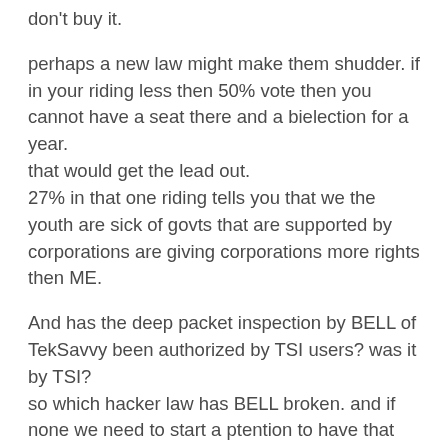don't buy it.
perhaps a new law might make them shudder. if in your riding less then 50% vote then you cannot have a seat there and a bielection for a year.
that would get the lead out.
27% in that one riding tells you that we the youth are sick of govts that are supported by corporations are giving corporations more rights then ME.
And has the deep packet inspection by BELL of TekSavvy been authorized by TSI users? was it by TSI?
so which hacker law has BELL broken. and if none we need to start a ptention to have that law remvoed and reworded NOW, time to end the mpaa/riaa dominance of canada for ever.